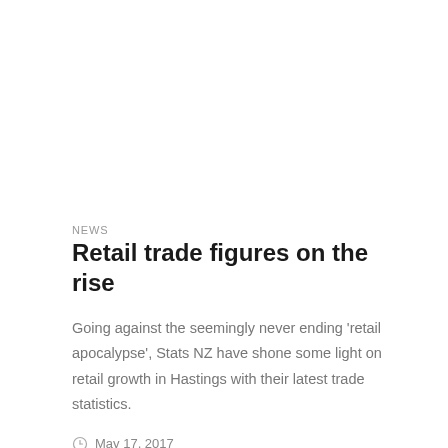NEWS
Retail trade figures on the rise
Going against the seemingly never ending 'retail apocalypse', Stats NZ have shone some light on retail growth in Hastings with their latest trade statistics.
May 17, 2017